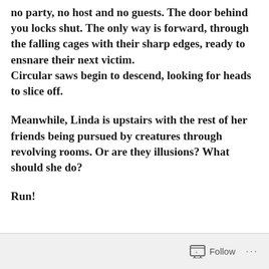no party, no host and no guests. The door behind you locks shut. The only way is forward, through the falling cages with their sharp edges, ready to ensnare their next victim. Circular saws begin to descend, looking for heads to slice off.
Meanwhile, Linda is upstairs with the rest of her friends being pursued by creatures through revolving rooms. Or are they illusions? What should she do?
Run!
Follow